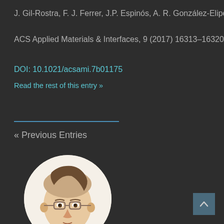J. Gil-Rostra, F. J. Ferrer, J.P. Espinós, A. R. González-Elipe, F. Yu
ACS Applied Materials & Interfaces, 9 (2017) 16313–16320
DOI: 10.1021/acsami.7b01175
Read the rest of this entry »
« Previous Entries
[Figure (illustration): Circular avatar illustration of a bald man with glasses wearing a yellow shirt, cartoon/caricature style, with a white/cream background]